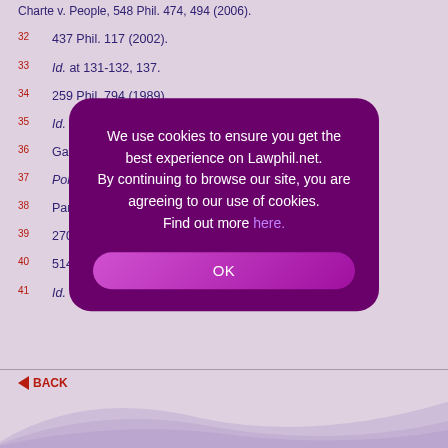Charte v. People, 548 Phil. 474, 494 (2006).
32 437 Phil. 117 (2002).
33 Id. at 131-132, 137.
34 259 Phil. 794 (1989).
35 Id. at 801-802.
36 Gatindu v. People, 615 Phil. 718, 734 (2009).
37 Pollo, supra...
38 Paredes... 8, 549-550 (200...
39 270 Phil. 271, 277 (1990).
40 514 Phil. 799 (2005).
41 Id. at 813.
We use cookies to ensure you get the best experience on Lawphil.net. By continuing to browse our site, you are agreeing to our use of cookies. Find out more here.
OK
BACK